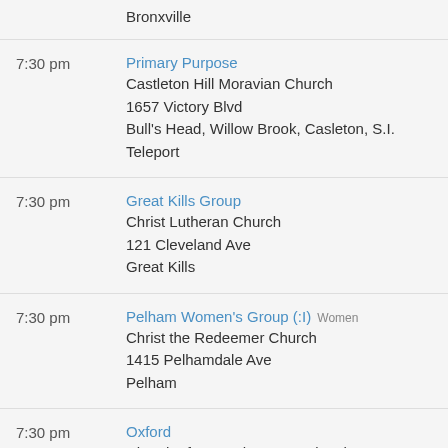Bronxville
7:30 pm | Primary Purpose | Castleton Hill Moravian Church | 1657 Victory Blvd | Bull's Head, Willow Brook, Casleton, S.I. Teleport
7:30 pm | Great Kills Group | Christ Lutheran Church | 121 Cleveland Ave | Great Kills
7:30 pm | Pelham Women's Group (:I) Women | Christ the Redeemer Church | 1415 Pelhamdale Ave | Pelham
7:30 pm | Oxford | Church of St Matthew & St Timothy | 26 W 84th St | Upper West Side
7:30 pm | Marble Hill Kingsbridge...